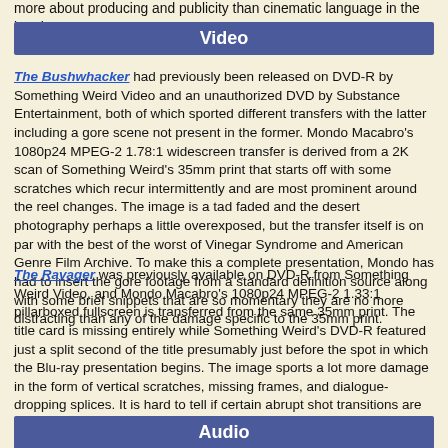more about producing and publicity than cinematic language in the interim.
Video
The Bushwhacker had previously been released on DVD-R by Something Weird Video and an unauthorized DVD by Substance Entertainment, both of which sported different transfers with the latter including a gore scene not present in the former. Mondo Macabro's 1080p24 MPEG-2 1.78:1 widescreen transfer is derived from a 2K scan of Something Weird's 35mm print that starts off with some scratches which recur intermittently and are most prominent around the reel changes. The image is a tad faded and the desert photography perhaps a little overexposed, but the transfer itself is on par with the best of the worst of Vinegar Syndrome and American Genre Film Archive. To make this a complete presentation, Mondo has had to insert the gore footage from a standard definition source along with some brief snippets that are so momentary they are no more distracting than any of the damage specific to the 35mm print.
The Ravager was previously available on DVD-R from Something Weird Video, and Mondo Macabro's 1080p24 MPEG-2 1.33:1 pillarboxed fullscreen is transferred from the same 35mm print. The title card is missing entirely while Something Weird's DVD-R featured just a split second of the title presumably just before the spot in which the Blu-ray presentation begins. The image sports a lot more damage in the form of vertical scratches, missing frames, and dialogue-dropping splices. It is hard to tell if certain abrupt shot transitions are due to damage, the removal of something possibly salacious by the projectionist for his own spank reel, or perhaps just a lack of sufficient coverage and poor editing.
Audio